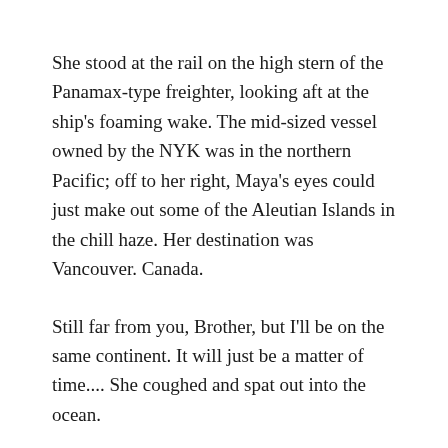She stood at the rail on the high stern of the Panamax-type freighter, looking aft at the ship's foaming wake. The mid-sized vessel owned by the NYK was in the northern Pacific; off to her right, Maya's eyes could just make out some of the Aleutian Islands in the chill haze. Her destination was Vancouver. Canada.
Still far from you, Brother, but I'll be on the same continent. It will just be a matter of time.... She coughed and spat out into the ocean.
After his phone call, the cab driver still had to make two stops to ask questions about the best place to drop her off. Finally pulling up before a three-story office complex fronting the harbor, he leaned back…